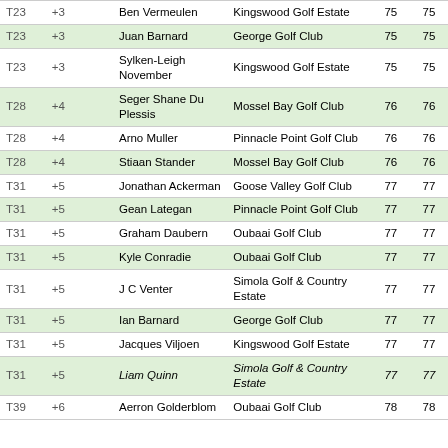| Pos | Score |  | Player | Club | R1 | R2 |
| --- | --- | --- | --- | --- | --- | --- |
| T23 | +3 |  | Ben Vermeulen | Kingswood Golf Estate | 75 | 75 |
| T23 | +3 |  | Juan Barnard | George Golf Club | 75 | 75 |
| T23 | +3 |  | Sylken-Leigh November | Kingswood Golf Estate | 75 | 75 |
| T28 | +4 |  | Seger Shane Du Plessis | Mossel Bay Golf Club | 76 | 76 |
| T28 | +4 |  | Arno Muller | Pinnacle Point Golf Club | 76 | 76 |
| T28 | +4 |  | Stiaan Stander | Mossel Bay Golf Club | 76 | 76 |
| T31 | +5 |  | Jonathan Ackerman | Goose Valley Golf Club | 77 | 77 |
| T31 | +5 |  | Gean Lategan | Pinnacle Point Golf Club | 77 | 77 |
| T31 | +5 |  | Graham Daubern | Oubaai Golf Club | 77 | 77 |
| T31 | +5 |  | Kyle Conradie | Oubaai Golf Club | 77 | 77 |
| T31 | +5 |  | J C Venter | Simola Golf & Country Estate | 77 | 77 |
| T31 | +5 |  | Ian Barnard | George Golf Club | 77 | 77 |
| T31 | +5 |  | Jacques Viljoen | Kingswood Golf Estate | 77 | 77 |
| T31 | +5 |  | Liam Quinn | Simola Golf & Country Estate | 77 | 77 |
| T39 | +6 |  | Aerron Golderblom | Oubaai Golf Club | 78 | 78 |